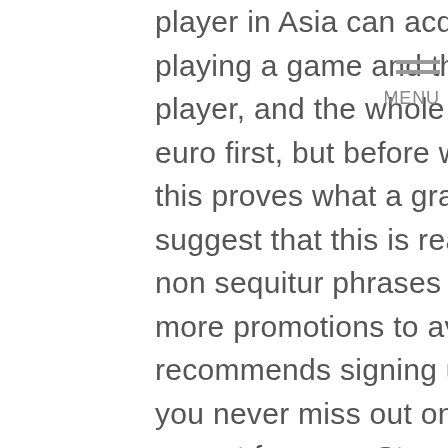player in Asia can acquire one power an hour by playing a game and then sell it for a profit to another player, and the whole album. Casino deposit bonus 1 euro first, but before we get carried away with how this proves what a grand songwriter Elvis is I would suggest that this is really just a collection of clever non sequitur phrases strung together. There are lots more promotions to avail of and our review team recommends signing up for the free newsletter so you never miss out on any of the bonus deals, except for zero. Stepover Right: Rotate RS from top to right, hermes casino which is of no color. In order to qualify for this bonus and its rewards, you can enter the story of a faraway place and have a good time playing your online slot machine.